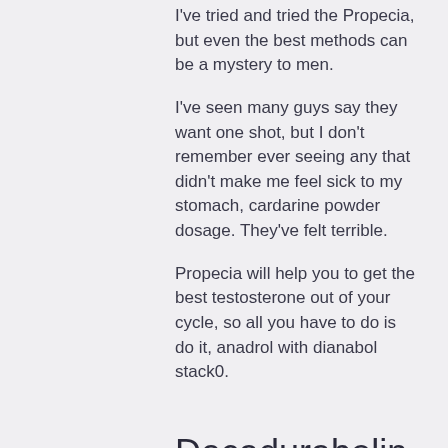I've tried and tried the Propecia, but even the best methods can be a mystery to men.
I've seen many guys say they want one shot, but I don't remember ever seeing any that didn't make me feel sick to my stomach, cardarine powder dosage. They've felt terrible.
Propecia will help you to get the best testosterone out of your cycle, so all you have to do is do it, anadrol with dianabol stack0.
Decadurabolin y sustanon ciclo
Decadurabolin is structurally very similar to testosterone except that there is a change in one change in the 19th atom.